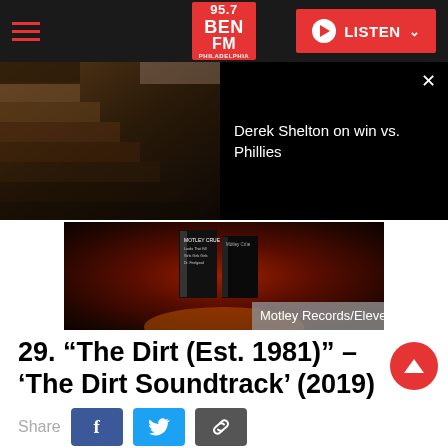[Figure (screenshot): 95.7 BEN FM Philadelphia radio station website navigation bar with hamburger menu, logo, and LISTEN button]
[Figure (screenshot): Split video panel: left side shows dark staircase photo, right side shows dark background with text 'Derek Shelton on win vs. Phillies' and X close button]
[Figure (photo): Album/book display image with dark red background showing Motley Crue book/album, labeled 'Motley Records/Eleven Seven']
29. “The Dirt (Est. 1981)” – ‘The Dirt Soundtrack’ (2019)
[Figure (other): Share buttons row: Share label, Facebook button, Twitter button, link button]
With the premiere of the film adaptation of